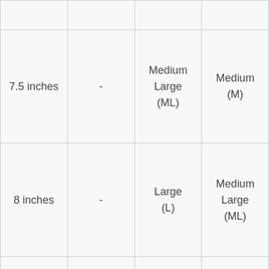|  |  |  |  |
| 7.5 inches | - | Medium Large (ML) | Medium (M) |
| 8 inches | - | Large (L) | Medium Large (ML) |
| 8.3 inches | - | - | Large (L) |